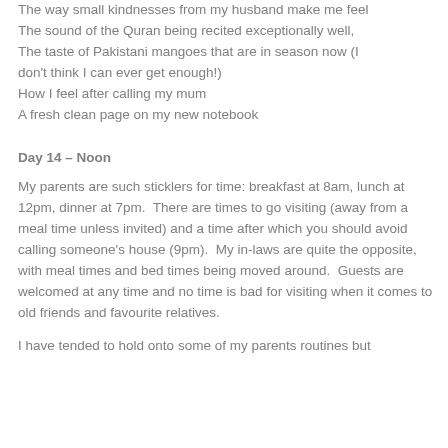The way small kindnesses from my husband make me feel
The sound of the Quran being recited exceptionally well,
The taste of Pakistani mangoes that are in season now (I don't think I can ever get enough!)
How I feel after calling my mum
A fresh clean page on my new notebook
Day 14 – Noon
My parents are such sticklers for time: breakfast at 8am, lunch at 12pm, dinner at 7pm.  There are times to go visiting (away from a meal time unless invited) and a time after which you should avoid calling someone's house (9pm).  My in-laws are quite the opposite, with meal times and bed times being moved around.  Guests are welcomed at any time and no time is bad for visiting when it comes to old friends and favourite relatives.
I have tended to hold onto some of my parents routines but